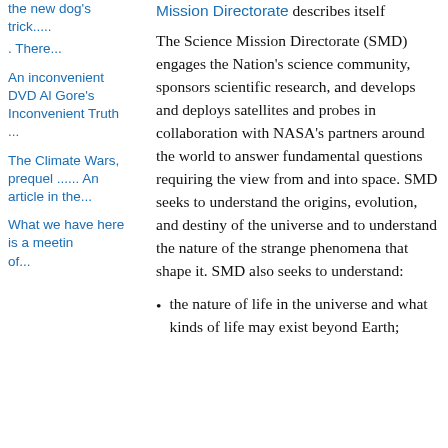the new dog's trick..... . There...
An inconvenient DVD Al Gore's Inconvenient Truth ...
The Climate Wars, prequel ...... An article in the...
What we have here is a meetin...
Mission Directorate describes itself
The Science Mission Directorate (SMD) engages the Nation's science community, sponsors scientific research, and develops and deploys satellites and probes in collaboration with NASA's partners around the world to answer fundamental questions requiring the view from and into space. SMD seeks to understand the origins, evolution, and destiny of the universe and to understand the nature of the strange phenomena that shape it. SMD also seeks to understand:
the nature of life in the universe and what kinds of life may exist beyond Earth;